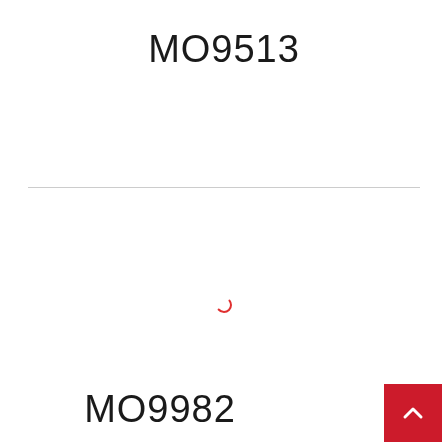MO9513
[Figure (other): A thin horizontal dividing line spanning the middle section of the page]
[Figure (other): A small red/pink partial circle spinner icon (loading indicator) centered in the lower-middle area of the page]
MO9982
[Figure (other): A red square button with a white upward-pointing chevron/caret arrow, positioned in the bottom-right corner]